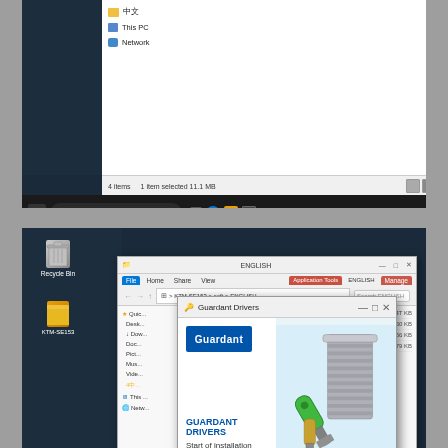[Figure (screenshot): Windows 10 File Explorer showing folder contents with items: 中文, This PC, Network. Status bar shows '4 items | 1 item selected 11.1 MB'. Windows taskbar at bottom with Start button, search bar 'Ask me anything', and system tray icons. Watermark 'FOBDIOBD' visible.]
[Figure (screenshot): Windows 10 desktop with Recycle Bin and KTM-SE153 folder icons. File Explorer window showing ENGLISH folder in KTM-SE153 > soft > ENGLISH path. Guardant Drivers installation dialog overlaid, showing Guardant logo in blue, a USB key and lock tower graphic, 'GUARDANT DRIVERS' title in blue, and 'Start of installation' subtitle.]